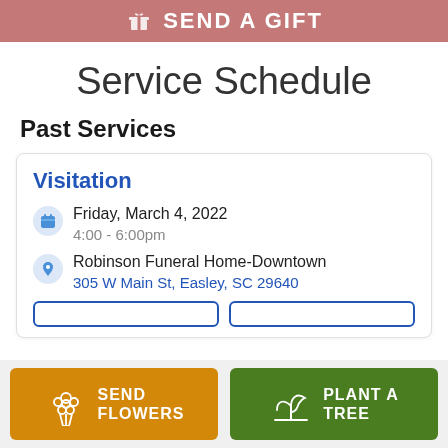[Figure (other): Pink/mauve banner with gift box icon and SEND A GIFT text]
Service Schedule
Past Services
Visitation
Friday, March 4, 2022
4:00 - 6:00pm
Robinson Funeral Home-Downtown
305 W Main St, Easley, SC 29640
[Figure (other): Bottom bar with Send Flowers (orange) and Plant A Tree (green) buttons]
SEND FLOWERS
PLANT A TREE